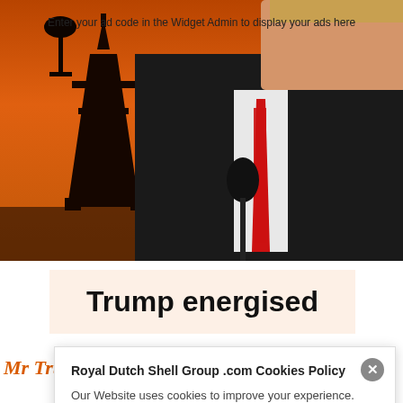[Figure (photo): Photo of a person speaking at a microphone against an orange sky background with oil derrick silhouette. Text overlay: 'Enter your ad code in the Widget Admin to display your ads here']
Trump energised
Mr Trump's aspiration to boost US
Royal Dutch Shell Group .com Cookies Policy
Our Website uses cookies to improve your experience. Please visit our Privacy page for more information about cookies and how we use them.